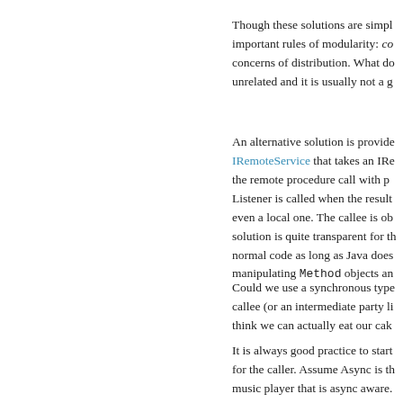Though these solutions are simpl important rules of modularity: co concerns of distribution. What do unrelated and it is usually not a g
An alternative solution is provide IRemoteService that takes an IRe the remote procedure call with p Listener is called when the result even a local one. The callee is ob solution is quite transparent for th normal code as long as Java does manipulating Method objects and
Could we use a synchronous type callee (or an intermediate party li think we can actually eat our cak
It is always good practice to start for the caller. Assume Async is th music player that is async aware. return immediately when called